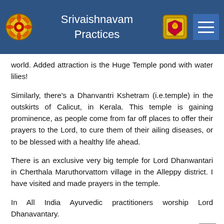Srivaishnavam Practices
world. Added attraction is the Huge Temple pond with water lilies!
Similarly, there's a Dhanvantri Kshetram (i.e.temple) in the outskirts of Calicut, in Kerala. This temple is gaining prominence, as people come from far off places to offer their prayers to the Lord, to cure them of their ailing diseases, or to be blessed with a healthy life ahead.
There is an exclusive very big temple for Lord Dhanwantari in Cherthala Maruthorvattom village in the Alleppy district. I have visited and made prayers in the temple.
In All India Ayurvedic practitioners worship Lord Dhanavantary.
Ashtavaidyas of Kerala